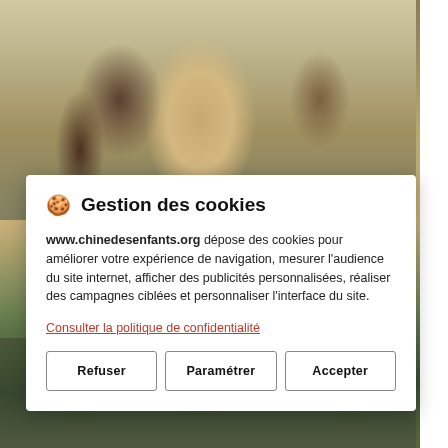[Figure (photo): Background photo showing a person in colorful clothes among animals (likely cattle/buffalo) in a rural outdoor setting with straw/hay on the ground. A second partial photo is visible at the bottom showing people outdoors.]
🍪 Gestion des cookies
www.chinedesenfants.org dépose des cookies pour améliorer votre expérience de navigation, mesurer l'audience du site internet, afficher des publicités personnalisées, réaliser des campagnes ciblées et personnaliser l'interface du site.
Consulter la politique de confidentialité
Refuser
Paramétrer
Accepter